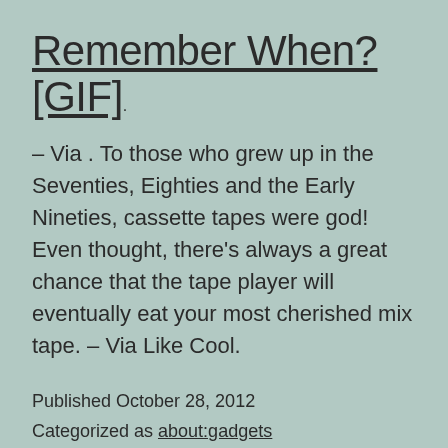Remember When? [GIF]
– Via . To those who grew up in the Seventies, Eighties and the Early Nineties, cassette tapes were god! Even thought, there’s always a great chance that the tape player will eventually eat your most cherished mix tape. – Via Like Cool.
Published October 28, 2012
Categorized as about:gadgets
Tagged before cd's, before mp3s, cassette tape, going old school, great listening, music, old school